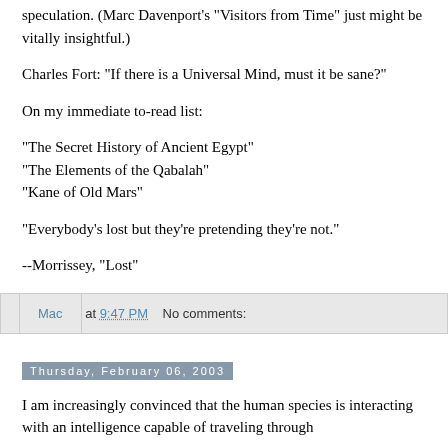speculation. (Marc Davenport's "Visitors from Time" just might be vitally insightful.)
Charles Fort: "If there is a Universal Mind, must it be sane?"
On my immediate to-read list:
"The Secret History of Ancient Egypt"
"The Elements of the Qabalah"
"Kane of Old Mars"
"Everybody's lost but they're pretending they're not."
--Morrissey, "Lost"
Mac at 9:47 PM    No comments:
Thursday, February 06, 2003
I am increasingly convinced that the human species is interacting with an intelligence capable of traveling through